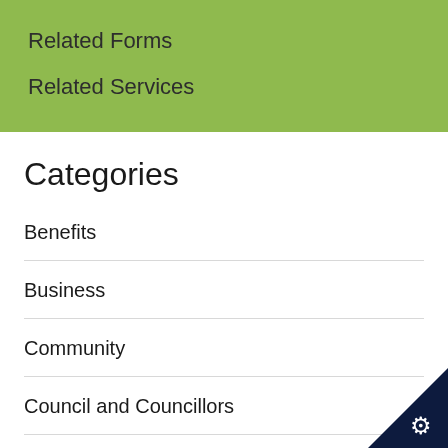Related Forms
Related Services
Categories
Benefits
Business
Community
Council and Councillors